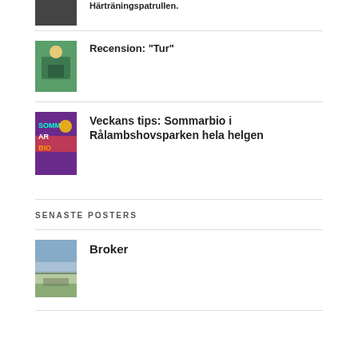[Figure (photo): Thumbnail image partially visible at top, dark/blurred movie-related photo]
Härträningspatrullen.
[Figure (photo): Thumbnail of animated character girl in green shirt]
Recension: "Tur"
[Figure (photo): Thumbnail of Sommarbio event poster with colorful text]
Veckans tips: Sommarbio i Rålambshovsparken hela helgen
SENASTE POSTERS
[Figure (photo): Movie poster thumbnail for Broker showing sky and landscape]
Broker